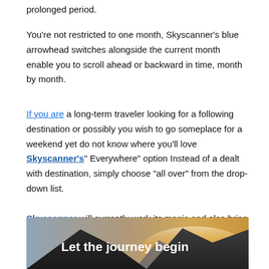prolonged period.
You’re not restricted to one month, Skyscanner’s blue arrowhead switches alongside the current month enable you to scroll ahead or backward in time, month by month.
If you are a long-term traveler looking for a following destination or possibly you wish to go someplace for a weekend yet do not know where you’ll love Skyscanner’s” Everywhere” option Instead of a dealt with destination, simply choose “all over” from the drop-down list.
Skyscanner will currently work its magic and also bring you a listing of possible locations, cheapest location first. Each cost will certainly be the most effective they have available for that country.
[Figure (photo): Scenic mountain landscape at sunset with text overlay reading 'Let the journey begin']